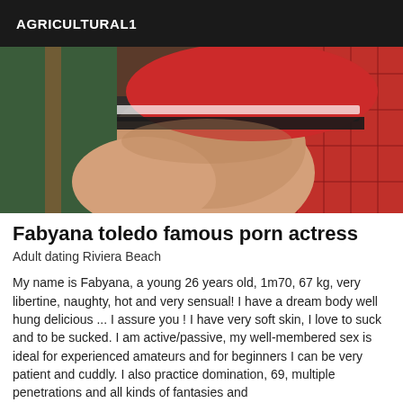AGRICULTURAL1
[Figure (photo): Close-up photo of a person wearing a red patterned outfit and a cap with a band, partially visible, showing skin and fabric details.]
Fabyana toledo famous porn actress
Adult dating Riviera Beach
My name is Fabyana, a young 26 years old, 1m70, 67 kg, very libertine, naughty, hot and very sensual! I have a dream body well hung delicious ... I assure you ! I have very soft skin, I love to suck and to be sucked. I am active/passive, my well-membered sex is ideal for experienced amateurs and for beginners I can be very patient and cuddly. I also practice domination, 69, multiple penetrations and all kinds of fantasies and